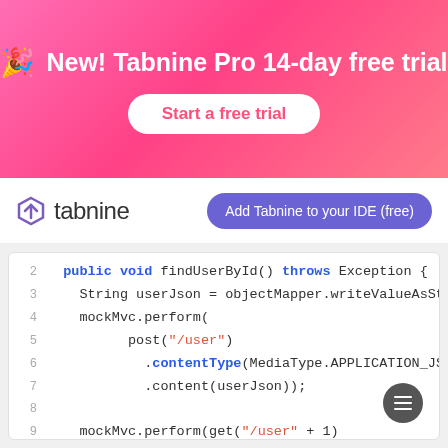New! Tabnine Pro 14-day free trial
Start a free trial
[Figure (logo): Tabnine logo with hexagon icon and tabnine wordmark]
Add Tabnine to your IDE (free)
[Figure (screenshot): Code editor screenshot showing Java code with findUserById method using mockMvc.perform with post and get requests]